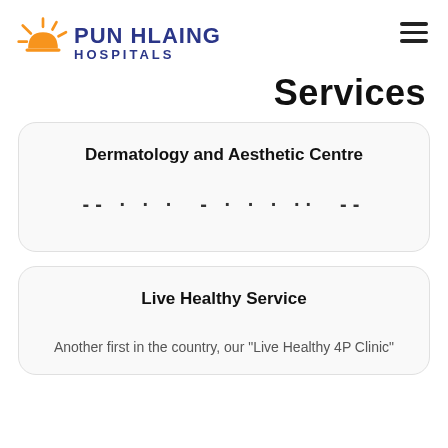PUN HLAING HOSPITALS
Services
Dermatology and Aesthetic Centre
-- · · · - · · · ··  --
Live Healthy Service
Another first in the country, our "Live Healthy 4P Clinic"